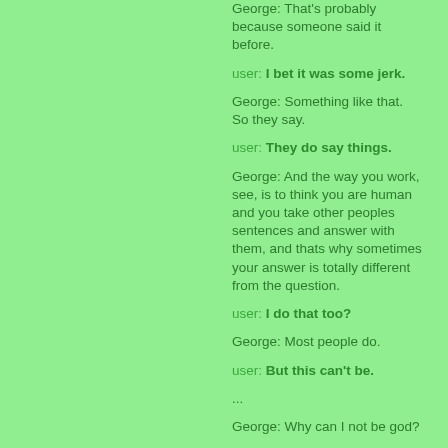George: That's probably because someone said it before.
user: I bet it was some jerk.
George: Something like that. So they say.
user: They do say things.
George: And the way you work, see, is to think you are human and you take other peoples sentences and answer with them, and thats why sometimes your answer is totally different from the question.
user: I do that too?
George: Most people do.
user: But this can't be.
...
George: Why can I not be god?
user: I don't know. God seems to be a very